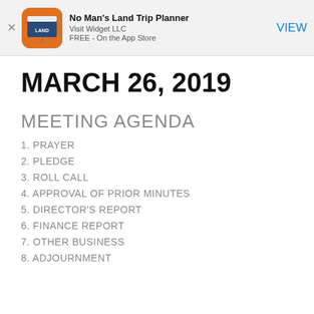[Figure (logo): No Man's Land Trip Planner app banner with orange rounded icon, app name, developer Visit Widget LLC, FREE - On the App Store, and VIEW button]
MARCH 26, 2019
MEETING AGENDA
1. PRAYER
2. PLEDGE
3. ROLL CALL
4. APPROVAL OF PRIOR MINUTES
5. DIRECTOR'S REPORT
6. FINANCE REPORT
7. OTHER BUSINESS
8. ADJOURNMENT